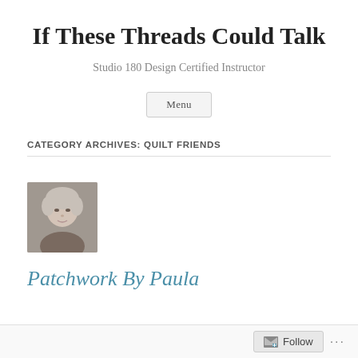If These Threads Could Talk
Studio 180 Design Certified Instructor
Menu
CATEGORY ARCHIVES: QUILT FRIENDS
[Figure (photo): Small square avatar photo of a woman with short light-colored hair]
Patchwork By Paula
Follow ...